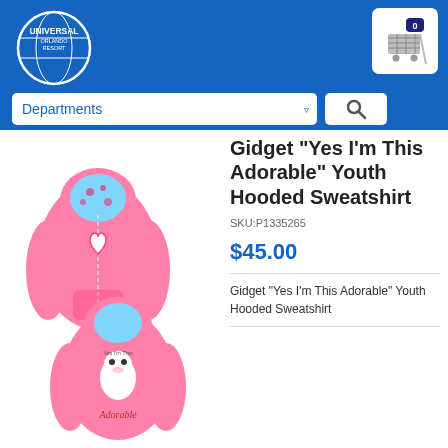[Figure (logo): Universal Orlando Resort globe logo, white text on blue background]
[Figure (illustration): Shopping cart icon with badge showing 0 items, on white rounded rectangle background]
Departments
[Figure (illustration): Search magnifying glass icon in white rounded rectangle]
[Figure (photo): Two views of a pink Gidget youth hooded sweatshirt: front view showing heart patch on chest, and back view showing Gidget character with 'Yes I'm This Adorable' text]
Gidget "Yes I'm This Adorable" Youth Hooded Sweatshirt
SKU:P1335265
$45.00
Gidget "Yes I'm This Adorable" Youth Hooded Sweatshirt